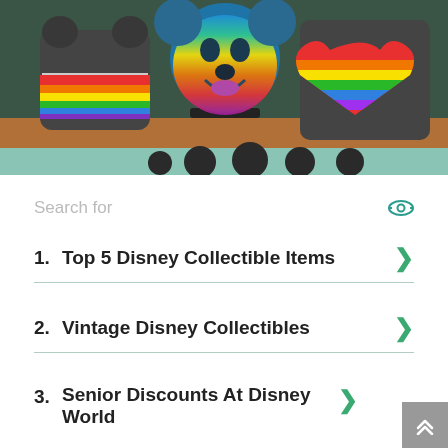[Figure (photo): Photo of Disney rainbow Pride merchandise on a wooden shelf: two Loungefly backpacks with rainbow stripes on the left and right, and a glowing Mickey Mouse face display in the center with rainbow gradient colors. Store shelving visible in background.]
Search for
1. Top 5 Disney Collectible Items
2. Vintage Disney Collectibles
3. Senior Discounts At Disney World